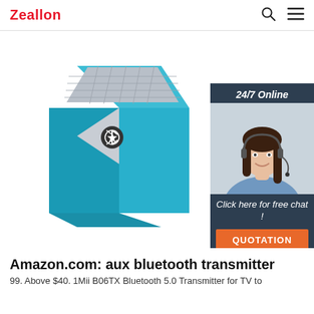Zeallon [search icon] [menu icon]
[Figure (photo): A teal/cyan geometric diamond-shaped Bluetooth speaker with a grey mesh top panel and a Bluetooth symbol button, photographed on a white background. A small customer service chat widget is overlaid on the right side showing '24/7 Online', a smiling female agent wearing a headset, 'Click here for free chat!', and a 'QUOTATION' button.]
Amazon.com: aux bluetooth transmitter
99. Above $40. 1Mii B06TX Bluetooth 5.0 Transmitter for TV to